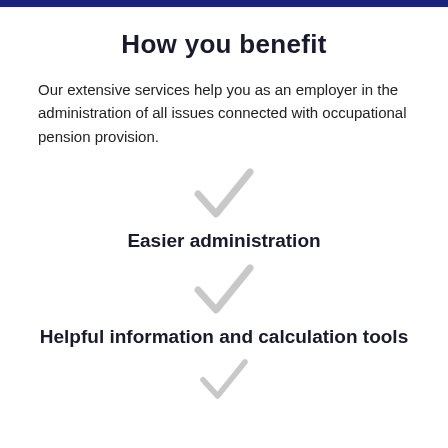How you benefit
Our extensive services help you as an employer in the administration of all issues connected with occupational pension provision.
[Figure (illustration): Light grey checkmark icon]
Easier administration
[Figure (illustration): Light grey checkmark icon]
Helpful information and calculation tools
[Figure (illustration): Light grey checkmark icon (partially visible at bottom)]